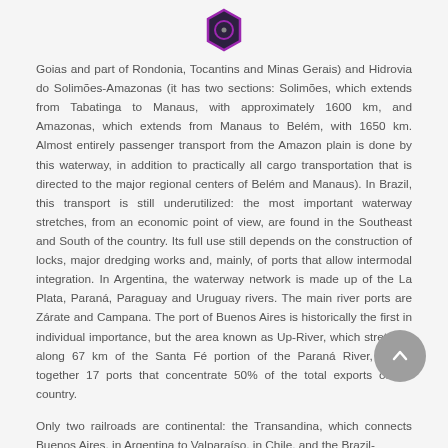[logo icon]
Goias and part of Rondonia, Tocantins and Minas Gerais) and Hidrovia do Solimões-Amazonas (it has two sections: Solimões, which extends from Tabatinga to Manaus, with approximately 1600 km, and Amazonas, which extends from Manaus to Belém, with 1650 km. Almost entirely passenger transport from the Amazon plain is done by this waterway, in addition to practically all cargo transportation that is directed to the major regional centers of Belém and Manaus). In Brazil, this transport is still underutilized: the most important waterway stretches, from an economic point of view, are found in the Southeast and South of the country. Its full use still depends on the construction of locks, major dredging works and, mainly, of ports that allow intermodal integration. In Argentina, the waterway network is made up of the La Plata, Paraná, Paraguay and Uruguay rivers. The main river ports are Zárate and Campana. The port of Buenos Aires is historically the first in individual importance, but the area known as Up-River, which stretches along 67 km of the Santa Fé portion of the Paraná River, brings together 17 ports that concentrate 50% of the total exports of the country.
Only two railroads are continental: the Transandina, which connects Buenos Aires, in Argentina to Valparaíso, in Chile, and the Brazil-